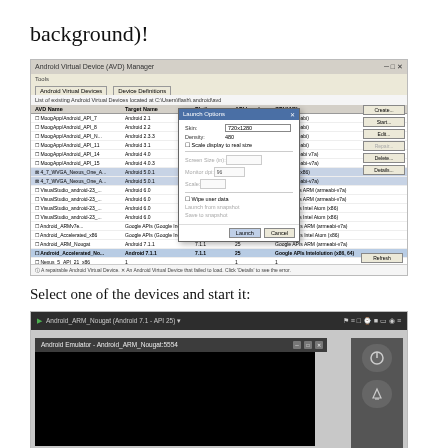background)!
[Figure (screenshot): Android Virtual Device (AVD) Manager screenshot showing a list of Android virtual devices with a Launch Options dialog open in the foreground.]
Select one of the devices and start it:
[Figure (screenshot): Android Emulator window showing Android_ARM_Nougat (Android 7.1 - API 25) running, with emulator toolbar and a black screen area.]